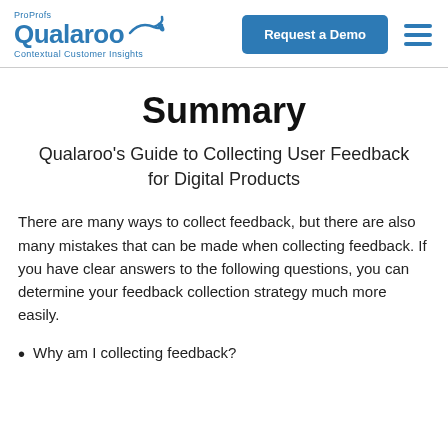ProProfs Qualaroo — Contextual Customer Insights | Request a Demo
Summary
Qualaroo's Guide to Collecting User Feedback for Digital Products
There are many ways to collect feedback, but there are also many mistakes that can be made when collecting feedback. If you have clear answers to the following questions, you can determine your feedback collection strategy much more easily.
Why am I collecting feedback?